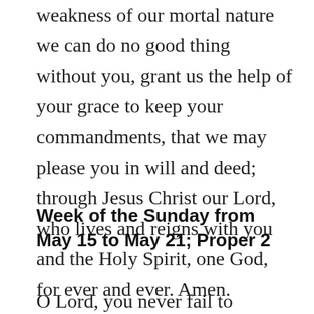weakness of our mortal nature we can do no good thing without you, grant us the help of your grace to keep your commandments, that we may please you in will and deed; through Jesus Christ our Lord, who lives and reigns with you and the Holy Spirit, one God, for ever and ever. Amen.
Week of the Sunday from May 15 to May 21; Proper 2
O Lord, you never fail to support and